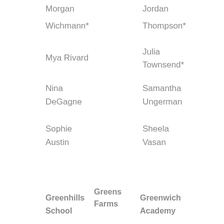Morgan
Wichmann*
Mya Rivard
Nina DeGagne
Sophie Austin
Jordan
Thompson*
Julia Townsend*
Samantha Ungerman
Sheela Vasan
Greenhills School
Greens Farms
Greenwich Academy